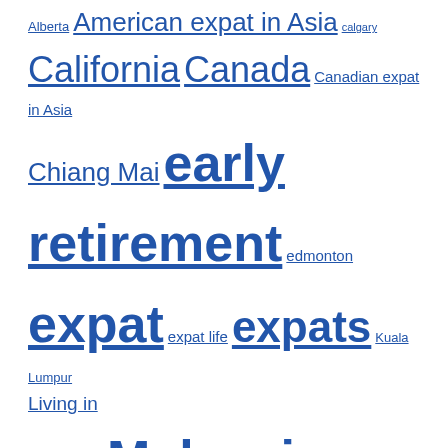Alberta American expat in Asia calgary California Canada Canadian expat in Asia Chiang Mai early retirement edmonton expat expat life expats Kuala Lumpur Living in Malaysia Malaysia MM2H moving overseas moving to Malaysia Northern Thailand Penang San Francisco Bay area selling a house Southeast Asia Thailand travel
THE EXPERIMENTAL ARCHIVES
Select Month (dropdown)
[Figure (logo): expat.com logo with globe icon in teal/cyan color]
[Figure (logo): Expats Blog badge/seal - circular blue badge with globe]
[Figure (logo): Expat circular badge/seal - blue and green circular logo with globe and text EXPAT]